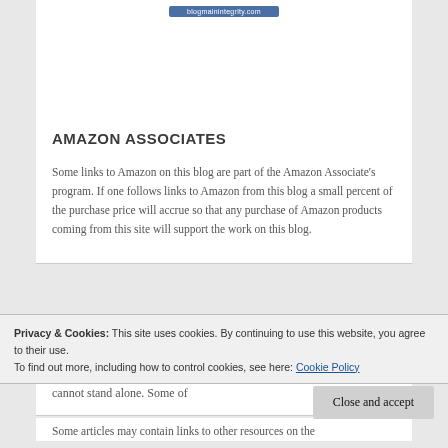[Figure (other): Blue button bar showing blogmainintegrity.com]
AMAZON ASSOCIATES
Some links to Amazon on this blog are part of the Amazon Associate's program. If one follows links to Amazon from this blog a small percent of the purchase price will accrue so that any purchase of Amazon products coming from this site will support the work on this blog.
GENERAL DISCLAIMER: I often publish authors whose articles I appreciate while maybe not agreeing with everything. My pieces, also, cannot stand alone. Some of
Privacy & Cookies: This site uses cookies. By continuing to use this website, you agree to their use.
To find out more, including how to control cookies, see here: Cookie Policy
Close and accept
Some articles may contain links to other resources on the